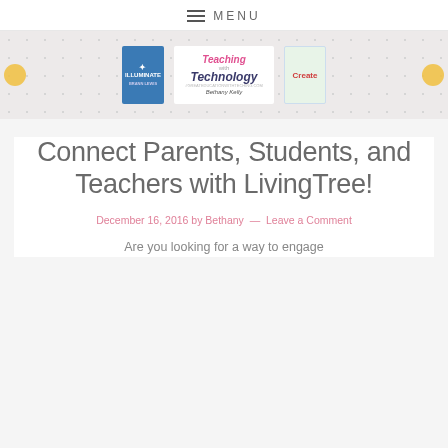MENU
[Figure (illustration): Website banner with three images: Illuminate book cover (blue), Teaching with Technology logo with cartoon teacher, and Create book cover. Yellow circles on left and right sides.]
Connect Parents, Students, and Teachers with LivingTree!
December 16, 2016 by Bethany — Leave a Comment
Are you looking for a way to engage